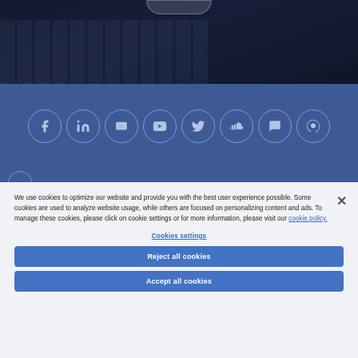[Figure (photo): Dark photo background showing a keyboard, heavily tinted with dark blue overlay]
[Figure (infographic): Blue social media bar with 8 circular icon buttons: Facebook, LinkedIn, SlideShare/Slideshare, YouTube, Twitter, SoundCloud, chat/comments, Podcast]
We use cookies to optimize our website and provide you with the best user experience possible. Some cookies are used to analyze website usage, while others are focused on personalizing content and ads. To manage these cookies, please click on cookie settings or for more information, please visit our cookie policy.
Cookies settings
Reject all cookies
Accept all cookies